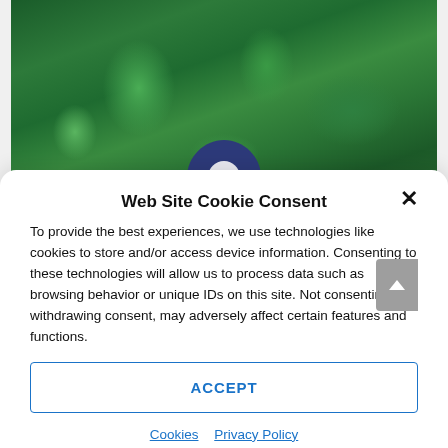[Figure (photo): Forest/jungle background with green foliage and trees, with a dark navy blue map location pin icon overlaid in the center-lower portion of the image.]
Web Site Cookie Consent
To provide the best experiences, we use technologies like cookies to store and/or access device information. Consenting to these technologies will allow us to process data such as browsing behavior or unique IDs on this site. Not consenting or withdrawing consent, may adversely affect certain features and functions.
ACCEPT
Cookies  Privacy Policy